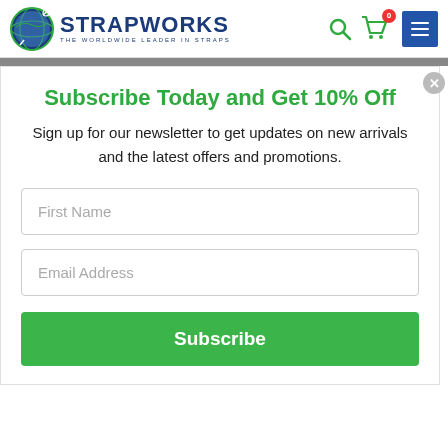STRAPWORKS — THE WORLDWIDE LEADER IN STRAPS
Subscribe Today and Get 10% Off
Sign up for our newsletter to get updates on new arrivals and the latest offers and promotions.
First Name
Email Address
Subscribe